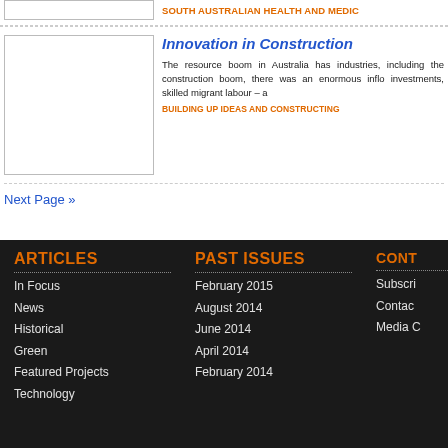SOUTH AUSTRALIAN HEALTH AND MEDIC…
Innovation in Construction
The resource boom in Australia has industries, including the construction boom, there was an enormous inflo investments, skilled migrant labour – a
BUILDING UP IDEAS AND CONSTRUCTING…
Next Page »
ARTICLES
In Focus
News
Historical
Green
Featured Projects
Technology
PAST ISSUES
February 2015
August 2014
June 2014
April 2014
February 2014
CONT…
Subscri…
Contac…
Media C…